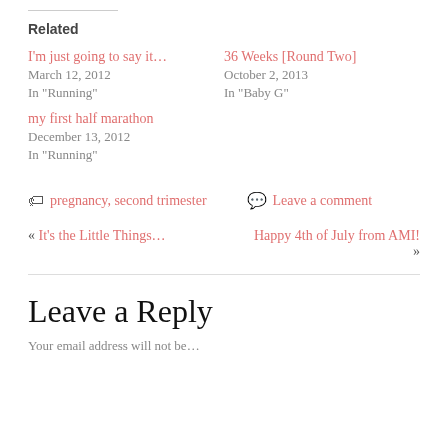Related
I'm just going to say it...
March 12, 2012
In "Running"
36 Weeks [Round Two]
October 2, 2013
In "Baby G"
my first half marathon
December 13, 2012
In "Running"
pregnancy, second trimester   Leave a comment
« It's the Little Things...   Happy 4th of July from AMI! »
Leave a Reply
Your email address will not be...